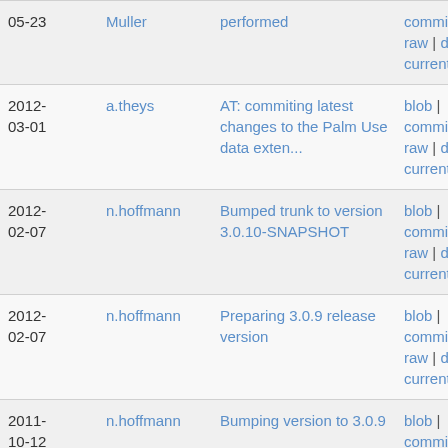| Date | Author | Message | Links |
| --- | --- | --- | --- |
| 05-23 | Muller | performed | commitdiff | raw | diff to current |
| 2012-03-01 | a.theys | AT: commiting latest changes to the Palm Use data exten... | blob | commitdiff | raw | diff to current |
| 2012-02-07 | n.hoffmann | Bumped trunk to version 3.0.10-SNAPSHOT | blob | commitdiff | raw | diff to current |
| 2012-02-07 | n.hoffmann | Preparing 3.0.9 release version | blob | commitdiff | raw | diff to current |
| 2011-10-12 | n.hoffmann | Bumping version to 3.0.9 | blob | commitdiff | raw | diff to current |
| 2011-10-12 | n.hoffmann | bumping version number to 3.0.7 for release | blob | commitdiff | raw | diff to |